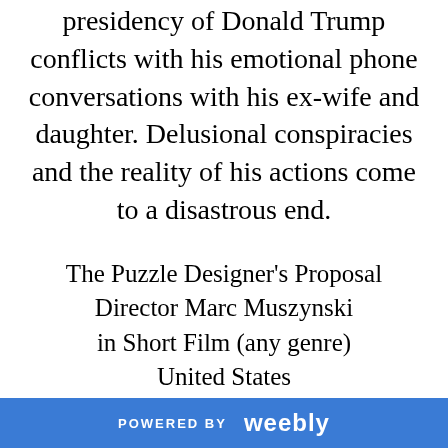presidency of Donald Trump conflicts with his emotional phone conversations with his ex-wife and daughter. Delusional conspiracies and the reality of his actions come to a disastrous end.
The Puzzle Designer's Proposal Director Marc Muszynski in Short Film (any genre) United States 8:21 When Carla tries to figure out her
POWERED BY weebly